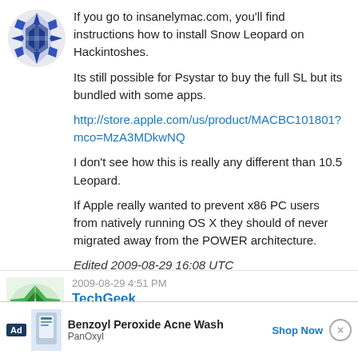[Figure (illustration): Blue and white geometric/snowflake pattern avatar icon for a forum user]
If you go to insanelymac.com, you'll find instructions how to install Snow Leopard on Hackintoshes.

Its still possible for Psystar to buy the full SL but its bundled with some apps.

http://store.apple.com/us/product/MACBC101801?mco=MzA3MDkwNQ

I don't see how this is really any different than 10.5 Leopard.

If Apple really wanted to prevent x86 PC users from natively running OS X they should of never migrated away from the POWER architecture.

Edited 2009-08-29 16:08 UTC
2009-08-29 4:51 PM
TechGeek
[Figure (illustration): Green and white geometric/star pattern avatar icon for TechGeek forum user]
[Figure (screenshot): Advertisement banner: Benzoyl Peroxide Acne Wash by PanOxyl with Shop Now CTA]